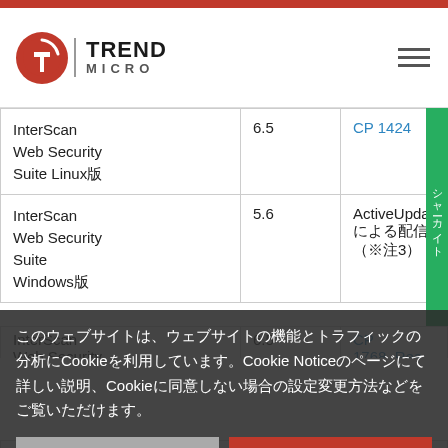Trend Micro
| 製品名 | バージョン | 情報 |
| --- | --- | --- |
| InterScan Web Security Suite Linux版 | 6.5 | CP 1424 |
| InterScan Web Security Suite Windows版 | 5.6 | ActiveUpdateによる配信（※注3） |
| InterScan Web Security | 6.5 | CP 1768 |
このウェブサイトは、ウェブサイトの機能とトラフィックの分析にCookieを利用しています。Cookie Noticeのページにて詳しい説明、Cookieに同意しない場合の設定変更方法などをご覧いただけます。
| 製品名 | バージョン | 情報 |
| --- | --- | --- |
| Trend Micro Web Security as a Service | - | 修正対応済みバージョン 3.4.1 Build |